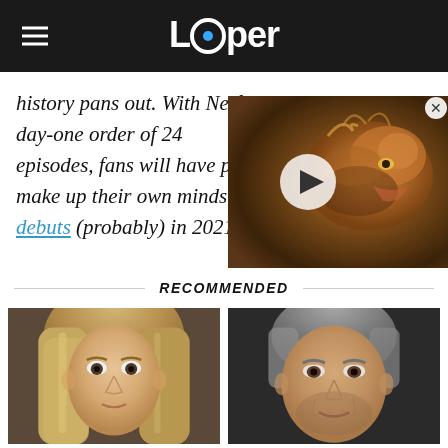Looper
history pans out. With Netflix's day-one order of 24 episodes, fans will have plenty of time to make up their own minds when the show debuts (probably) in 2021.
[Figure (screenshot): Video thumbnail showing a dragon or fantasy creature with a play button overlay, with a close button in the top right corner]
RECOMMENDED
[Figure (photo): Left: Photo of a young man with long straight blonde/brown hair. Right: Photo of an older man with grey hair smiling.]